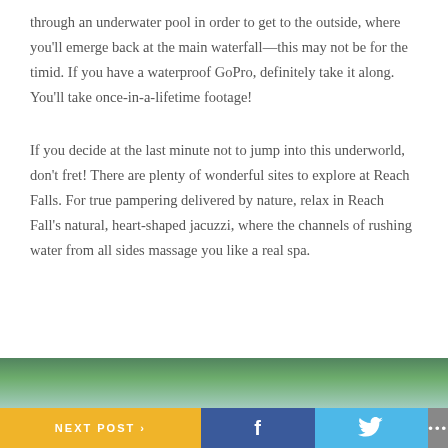through an underwater pool in order to get to the outside, where you'll emerge back at the main waterfall—this may not be for the timid. If you have a waterproof GoPro, definitely take it along. You'll take once-in-a-lifetime footage!
If you decide at the last minute not to jump into this underworld, don't fret! There are plenty of wonderful sites to explore at Reach Falls. For true pampering delivered by nature, relax in Reach Fall's natural, heart-shaped jacuzzi, where the channels of rushing water from all sides massage you like a real spa.
[Figure (photo): Partial photo of tropical foliage and sky, visible at bottom of page]
NEXT POST > | f | tweet icon | ...